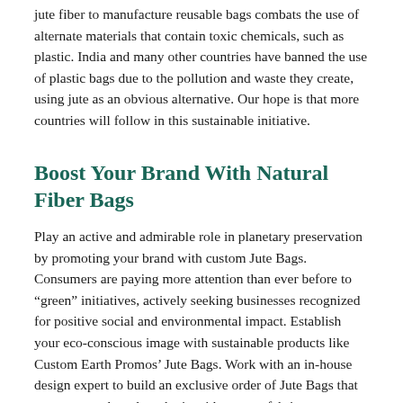jute fiber to manufacture reusable bags combats the use of alternate materials that contain toxic chemicals, such as plastic. India and many other countries have banned the use of plastic bags due to the pollution and waste they create, using jute as an obvious alternative. Our hope is that more countries will follow in this sustainable initiative.
Boost Your Brand With Natural Fiber Bags
Play an active and admirable role in planetary preservation by promoting your brand with custom Jute Bags. Consumers are paying more attention than ever before to “green” initiatives, actively seeking businesses recognized for positive social and environmental impact. Establish your eco-conscious image with sustainable products like Custom Earth Promos’ Jute Bags. Work with an in-house design expert to build an exclusive order of Jute Bags that capture your brand aesthetic with custom fabric, colours, branding. Shop now and more...